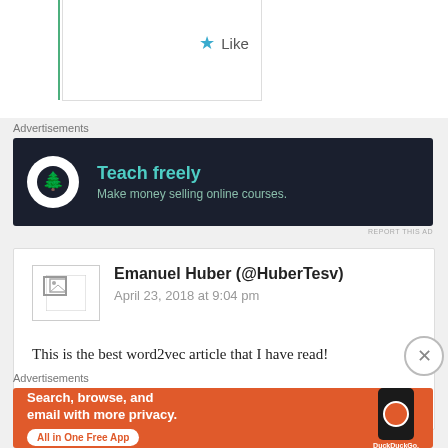★ Like
Advertisements
[Figure (screenshot): Advertisement banner for Teachable: dark background with white circle icon showing a tree/bonsai, text 'Teach freely' in teal and 'Make money selling online courses.' in lighter teal]
REPORT THIS AD
[Figure (screenshot): Blog comment box with avatar placeholder for Emanuel Huber (@HuberTesv), dated April 23, 2018 at 9:04 pm, with comment text: 'This is the best word2vec article that I have read!']
Emanuel Huber (@HuberTesv)
April 23, 2018 at 9:04 pm
This is the best word2vec article that I have read!
Advertisements
[Figure (screenshot): DuckDuckGo advertisement banner: orange background with text 'Search, browse, and email with more privacy. All in One Free App' and phone image with DuckDuckGo logo]